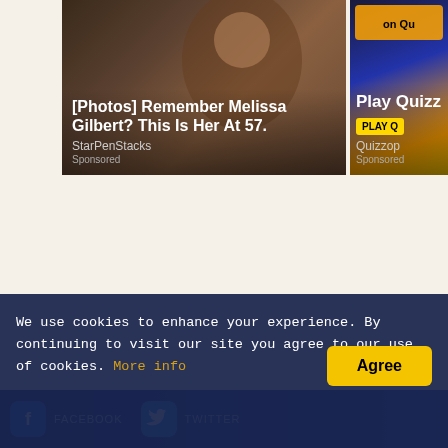[Figure (photo): Advertisement card showing Melissa Gilbert photo with text overlay]
[Photos] Remember Melissa Gilbert? This Is Her At 57.
StarPenStacks
Sponsored
[Figure (photo): Advertisement card showing quiz/game promotional image with yellow play button]
Play Quizz
PLAY Q
Quizzop
Sponsored
We use cookies to enhance your experience. By continuing to visit our site you agree to our use of cookies. More info
Agree